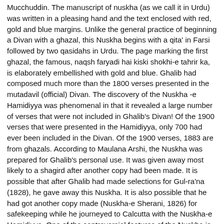Mucchuddin. The manuscript of nuskha (as we call it in Urdu) was written in a pleasing hand and the text enclosed with red, gold and blue margins. Unlike the general practice of beginning a Divan with a ghazal, this Nuskha begins with a qita' in Farsi followed by two qasidahs in Urdu. The page marking the first ghazal, the famous, naqsh faryadi hai kiski shokhi-e tahrir ka, is elaborately embellished with gold and blue. Ghalib had composed much more than the 1800 verses presented in the mutadavil (official) Divan. The discovery of the Nuskha -e Hamidiyya was phenomenal in that it revealed a large number of verses that were not included in Ghalib's Divan! Of the 1900 verses that were presented in the Hamidiyya, only 700 had ever been included in the Divan. Of the 1900 verses, 1883 are from ghazals. According to Maulana Arshi, the Nuskha was prepared for Ghalib's personal use. It was given away most likely to a shagird after another copy had been made. It is possible that after Ghalib had made selections for Gul-ra'na (1828), he gave away this Nuskha. It is also possible that he had got another copy made (Nuskha-e Sherani, 1826) for safekeeping while he journeyed to Calcutta with the Nuskha-e Hamidiyya. One of the controversial features of the Nuskha is the addition of ghazals in the margins in a consistent but somewhat unpolished hand. The question is: Who made those additions? Maulana Arshi is of the opinion that the writing is in Ghalib's hand. Some scholars think the handwriting is not sophisticated enough to be Ghalib's. According to Gyan Chand Jain, the corrections and additions to the Hamidiyya were done after the circulation of the Nuskha -e Sherani and are not in Ghalib's hand. New ghazals and verses added to older ghazals were copied from the Sherani in the margins of the Hamidiyya. The Nuskha was later used by Maulana Arshi in 1944 in the transcription